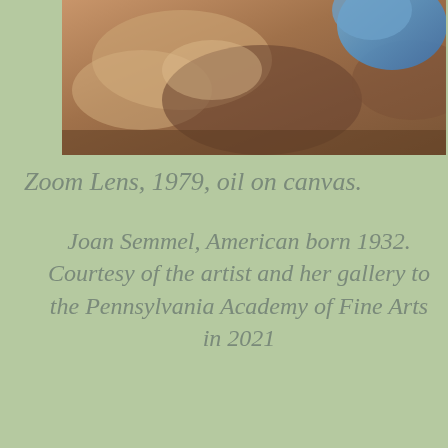[Figure (photo): Close-up painting detail showing warm brown and tan tones with a blue element visible at top right, cropped view of what appears to be a figure or body, oil on canvas painting style.]
Zoom Lens, 1979, oil on canvas.
Joan Semmel, American born 1932. Courtesy of the artist and her gallery to the Pennsylvania Academy of Fine Arts in 2021